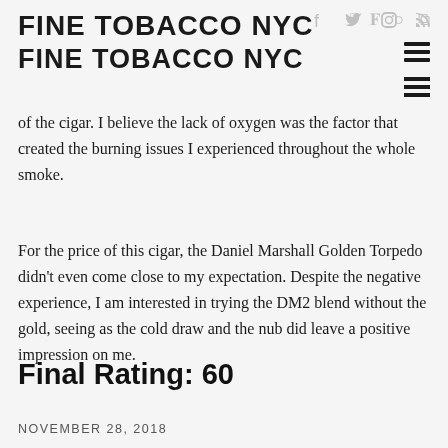FINE TOBACCO NYC
of the cigar. I believe the lack of oxygen was the factor that created the burning issues I experienced throughout the whole smoke.
For the price of this cigar, the Daniel Marshall Golden Torpedo didn't even come close to my expectation. Despite the negative experience, I am interested in trying the DM2 blend without the gold, seeing as the cold draw and the nub did leave a positive impression on me.
Final Rating: 60
NOVEMBER 28, 2018